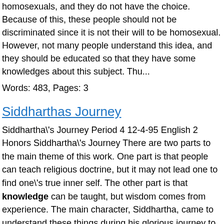homosexuals, and they do not have the choice. Because of this, these people should not be discriminated since it is not their will to be homosexual. However, not many people understand this idea, and they should be educated so that they have some knowledges about this subject. Thu...
Words: 483, Pages: 3
Siddharthas Journey
Siddhartha\'s Journey Period 4 12-4-95 English 2 Honors Siddhartha\'s Journey There are two parts to the main theme of this work. One part is that people can teach religious doctrine, but it may not lead one to find one\'s true inner self. The other part is that knowledge can be taught, but wisdom comes from experience. The main character, Siddhartha, came to understand these things during his glorious journey to find spiritual enlightenment in the book Siddhartha by Hermann Hesse. In order to